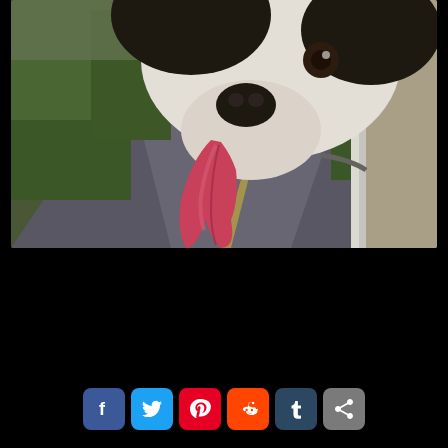[Figure (photo): A dog with its head out of a car window, tongue hanging out, on a winding road with green trees in the background. The photo has a slightly vintage/filtered look.]
[Figure (infographic): Social media sharing buttons: Facebook (blue), Twitter (light blue), Pinterest (red), Reddit (orange-red), Tumblr (dark blue-gray), Share/Add (gray) — displayed as rounded square icons in a horizontal row at the bottom of a black background.]